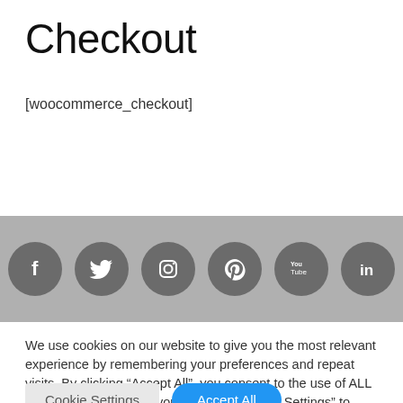Checkout
[woocommerce_checkout]
[Figure (illustration): Social media icon buttons (Facebook, Twitter, Instagram, Pinterest, YouTube, LinkedIn) as dark grey circles on a grey banner]
We use cookies on our website to give you the most relevant experience by remembering your preferences and repeat visits. By clicking “Accept All”, you consent to the use of ALL the cookies. However, you may visit “Cookie Settings” to provide a controlled consent.
Cookie Settings   Accept All